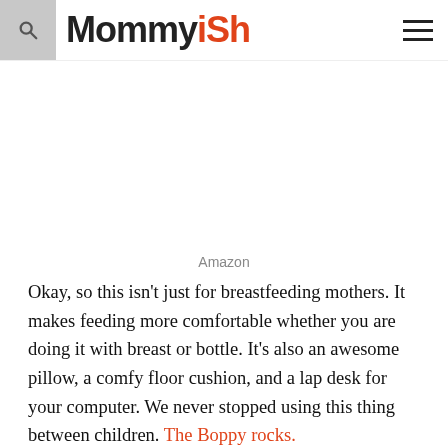Mommyish
Amazon
Okay, so this isn't just for breastfeeding mothers. It makes feeding more comfortable whether you are doing it with breast or bottle. It's also an awesome pillow, a comfy floor cushion, and a lap desk for your computer. We never stopped using this thing between children. The Boppy rocks.
3. Bouncer/ Swing/ Somewhere to put the damn baby